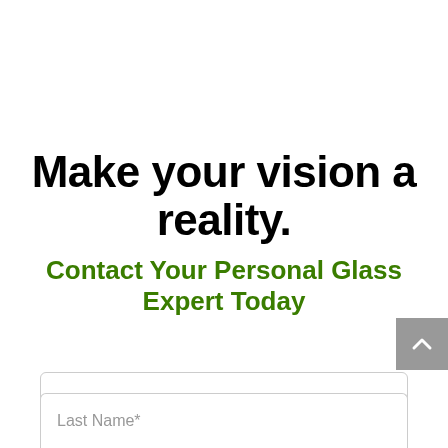Make your vision a reality.
Contact Your Personal Glass Expert Today
[Figure (other): Gray scroll-to-top button with upward chevron arrow]
First Name*
Last Name*